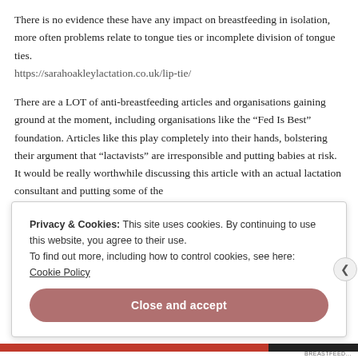There is no evidence these have any impact on breastfeeding in isolation, more often problems relate to tongue ties or incomplete division of tongue ties.
https://sarahoakleylactation.co.uk/lip-tie/
There are a LOT of anti-breastfeeding articles and organisations gaining ground at the moment, including organisations like the “Fed Is Best” foundation. Articles like this play completely into their hands, bolstering their argument that “lactavists” are irresponsible and putting babies at risk. It would be really worthwhile discussing this article with an actual lactation consultant and putting some of the
Privacy & Cookies: This site uses cookies. By continuing to use this website, you agree to their use.
To find out more, including how to control cookies, see here: Cookie Policy
Close and accept